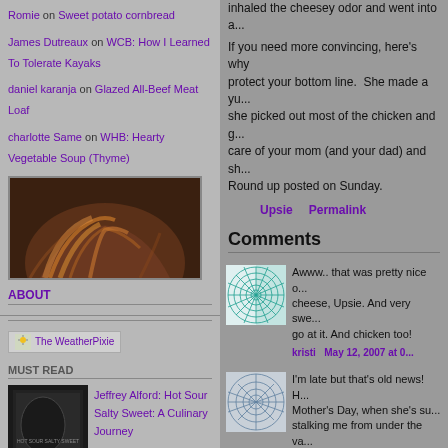Romie on Sweet potato cornbread
James Dutreaux on WCB: How I Learned To Tolerate Kayaks
daniel karanja on Glazed All-Beef Meat Loaf
charlotte Same on WHB: Hearty Vegetable Soup (Thyme)
[Figure (photo): Close-up photo of a person with auburn/red highlighted hair]
ABOUT
[Figure (screenshot): The WeatherPixie badge]
MUST READ
[Figure (photo): Book cover: Hot Sour Salty Sweet by Jeffrey Alford]
Jeffrey Alford: Hot Sour Salty Sweet: A Culinary Journey
inhaled the cheesey odor and went into a...
If you need more convincing, here's why... protect your bottom line. She made a yu... she picked out most of the chicken and g... care of your mom (and your dad) and sh... Round up posted on Sunday.
Upsie   Permalink
Comments
[Figure (illustration): Teal/green geometric grid pattern avatar]
Awww.. that was pretty nice of you with the cheese, Upsie. And very sweet. Give it another go at it. And chicken too!
kristi   May 12, 2007 at 0...
[Figure (illustration): Gray geometric grid pattern avatar]
I'm late but that's old news! H... Mother's Day, when she's su... stalking me from under the va... pounce on! Our post is here:... http://www.bucoteful.com/2...